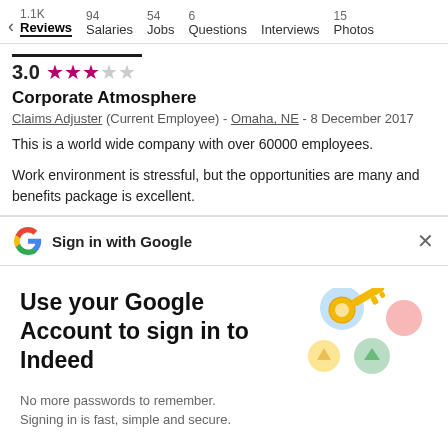< 1.1K Reviews | 94 Salaries | 54 Jobs | 6 Questions | Interviews | 15 Photos
3.0 ★★★☆☆ Corporate Atmosphere
Claims Adjuster (Current Employee) - Omaha, NE - 8 December 2017
This is a world wide company with over 60000 employees.
Work environment is stressful, but the opportunities are many and benefits package is excellent.
Sign in with Google
Use your Google Account to sign in to Indeed
No more passwords to remember.
Signing in is fast, simple and secure.
Continue